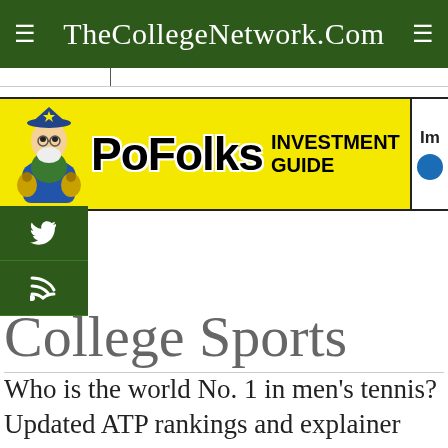TheCollegeNetwork.Com
[Figure (illustration): PoFolks Investment Guide advertisement banner with cartoon wizard character holding money bags on yellow background]
[Figure (logo): Twitter bird icon social button (green square)]
[Figure (logo): RSS feed icon social button (green square)]
College Sports
Who is the world No. 1 in men's tennis? Updated ATP rankings and explainer